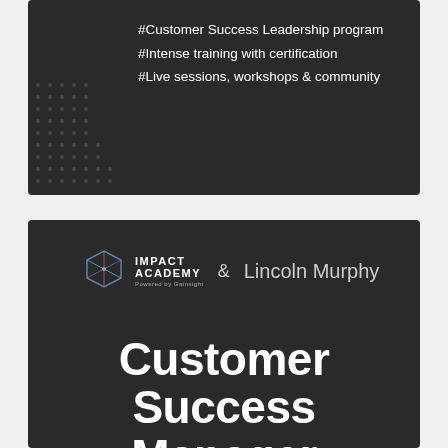[Figure (infographic): Dark background card with hashtag text about Customer Success Leadership program, intense training with certification, live sessions workshops and community. Decorative dot grid pattern on the left.]
[Figure (infographic): Dark background card with Impact Academy logo and Lincoln Murphy branding. Title reads Customer Success Manager training program. Date: September 12th - 30th.]